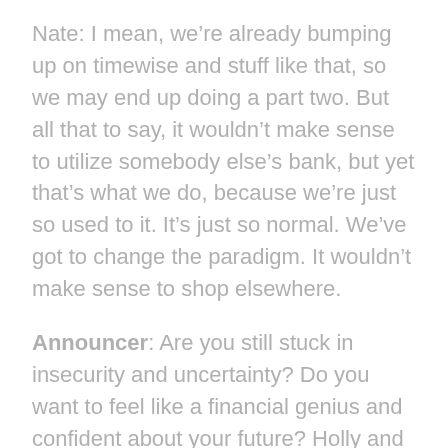Nate: I mean, we're already bumping up on time-wise and stuff like that, so we may end up doing a part two. But all that to say, it wouldn't make sense to utilize somebody else's bank, but yet that's what we do, because we're just so used to it. It's just so normal. We've got to change the paradigm. It wouldn't make sense to shop elsewhere.
Announcer: Are you still stuck in insecurity and uncertainty? Do you want to feel like a financial genius and confident about your future? Holly and Nate have prepared something exclusively for Dollars and Nonsense listeners. It's called the Secret Banking Masterclass. You can gain free access to this course by visiting livingwealth.com/secretbanking. That's